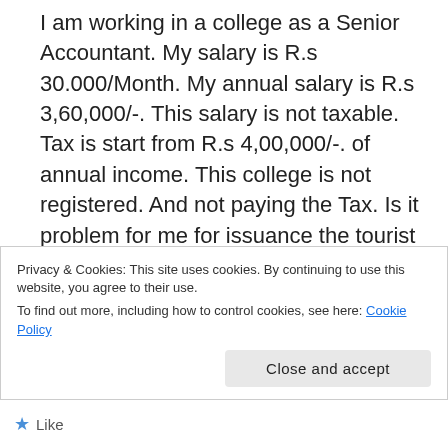I am working in a college as a Senior Accountant. My salary is R.s 30.000/Month. My annual salary is R.s 3,60,000/-. This salary is not taxable. Tax is start from R.s 4,00,000/-. of annual income. This college is not registered. And not paying the Tax. Is it problem for me for issuance the tourist visa? The college should be registered or not? and not taxpayer ? This is compulsory? If i make my hotel and Ticket reservation from a travel agent, then in interview if they asked about this. Can i tell them these reservation are
Privacy & Cookies: This site uses cookies. By continuing to use this website, you agree to their use.
To find out more, including how to control cookies, see here: Cookie Policy
Close and accept
Like